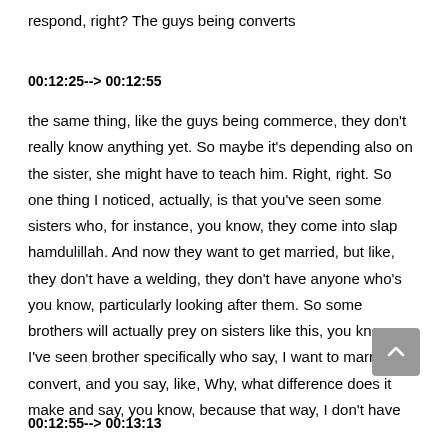respond, right? The guys being converts
00:12:25--> 00:12:55
the same thing, like the guys being commerce, they don't really know anything yet. So maybe it's depending also on the sister, she might have to teach him. Right, right. So one thing I noticed, actually, is that you've seen some sisters who, for instance, you know, they come into slap hamdulillah. And now they want to get married, but like, they don't have a welding, they don't have anyone who's you know, particularly looking after them. So some brothers will actually prey on sisters like this, you know, I've seen brother specifically who say, I want to marry a convert, and you say, like, Why, what difference does it make and say, you know, because that way, I don't have
00:12:55--> 00:13:13